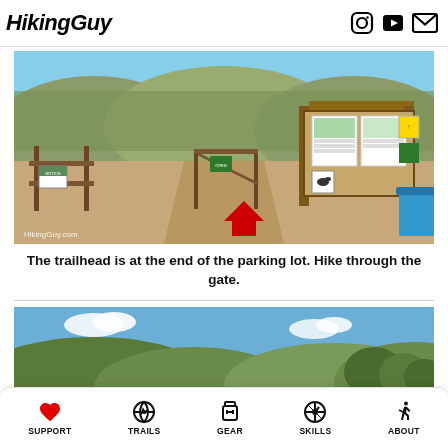HikingGuy
[Figure (photo): Trailhead at end of parking lot with a gate, trail information kiosk, and a red arrow pointing to the gate entrance. HikingGuy.com watermark visible.]
The trailhead is at the end of the parking lot. Hike through the gate.
[Figure (photo): Scenic trail view with hills and blue sky.]
SUPPORT  TRAILS  GEAR  SKILLS  ABOUT